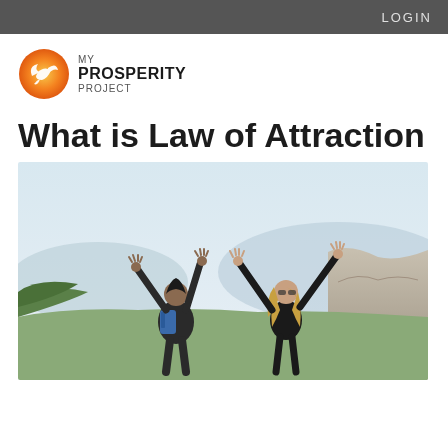LOGIN
[Figure (logo): My Prosperity Project logo with orange bird/dove icon and text MY PROSPERITY PROJECT]
What is Law of Attraction
[Figure (photo): Two people standing on a cliff or elevated viewpoint with arms raised in celebration, viewed from behind. Sky in background, green hills and rocky cliffs visible. One person wears a black jacket with blue backpack, the other has long blonde hair wearing black.]